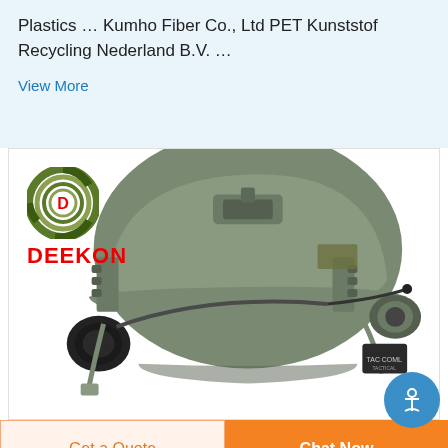Plastics … Kumho Fiber Co., Ltd PET Kunststof Recycling Nederland B.V. …
View More
[Figure (photo): Tactical military helmet in olive/grey color with side rail mounts, communication headset/ear protection, chin strap, and microphone boom. DEEKON brand logo (camouflage circle with red D) and red DEEKON text visible in upper left.]
Get a Quote
Chat Now